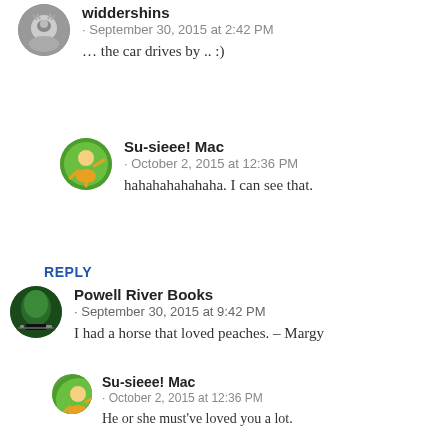widdershins · September 30, 2015 at 2:42 PM … the car drives by .. :)
Su-sieee! Mac · October 2, 2015 at 12:36 PM hahahahahahaha. I can see that.
REPLY
Powell River Books · September 30, 2015 at 9:42 PM I had a horse that loved peaches. – Margy
Su-sieee! Mac · October 2, 2015 at 12:36 PM He or she must've loved you a lot.